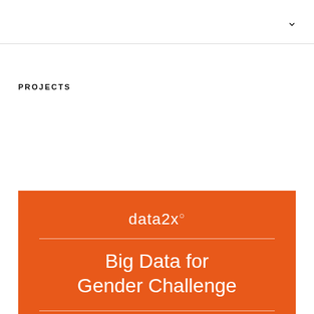PROJECTS
[Figure (logo): data2x logo and Big Data for Gender Challenge card with orange background, white text showing 'data2x' with a superscript circle, and title 'Big Data for Gender Challenge']